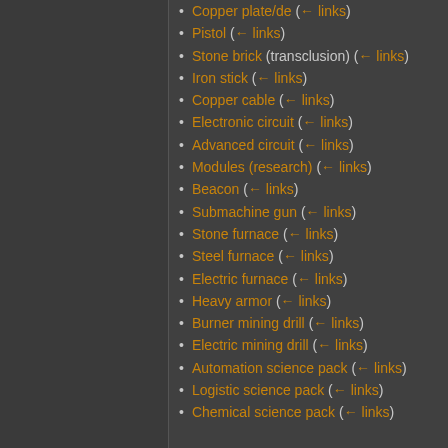Copper plate/de  (← links)
Pistol  (← links)
Stone brick (transclusion)  (← links)
Iron stick  (← links)
Copper cable  (← links)
Electronic circuit  (← links)
Advanced circuit  (← links)
Modules (research)  (← links)
Beacon  (← links)
Submachine gun  (← links)
Stone furnace  (← links)
Steel furnace  (← links)
Electric furnace  (← links)
Heavy armor  (← links)
Burner mining drill  (← links)
Electric mining drill  (← links)
Automation science pack  (← links)
Logistic science pack  (← links)
Chemical science pack  (← links)